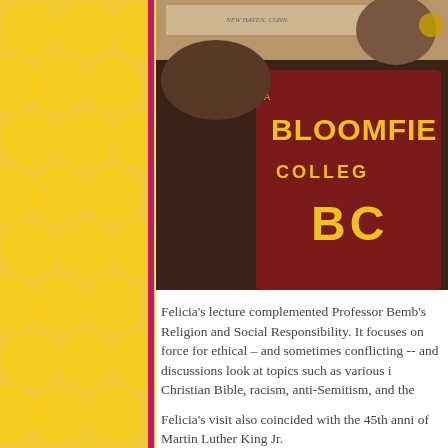[Figure (photo): Person holding up a maroon Bloomfield College t-shirt with gold lettering showing 'BLOOMFIELD COLLEGE' and 'BC' logo. A wall map or banner is visible in the background.]
Felicia's lecture complemented Professor Bemb's Religion and Social Responsibility. It focuses on force for ethical – and sometimes conflicting -- and discussions look at topics such as various i Christian Bible, racism, anti-Semitism, and the
Felicia's visit also coincided with the 45th anni of Martin Luther King Jr.